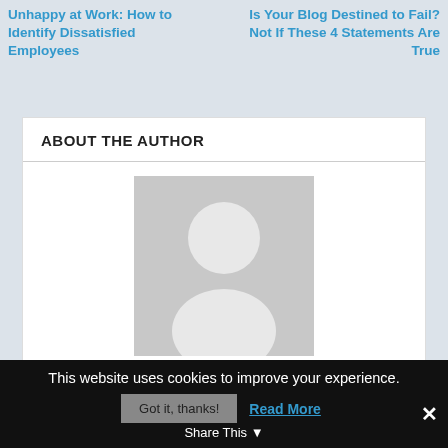Unhappy at Work: How to Identify Dissatisfied Employees
Is Your Blog Destined to Fail? Not If These 4 Statements Are True
ABOUT THE AUTHOR
[Figure (illustration): Default author avatar placeholder — grey silhouette of a person on a grey background]
Seb Robert
Seb Robert is the founder of Gophr, a London courier startup focused on delivering great value, efficiency, speed and peace of mind. When he's not
This website uses cookies to improve your experience. Got it, thanks! Read More Share This ✕